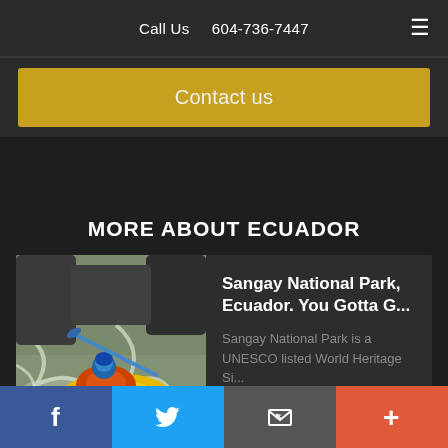Call Us   604-736-7447
Contact us
MORE ABOUT ECUADOR
[Figure (photo): Kayaker in yellow kayak navigating white water rapids with paddle raised]
Sangay National Park, Ecuador. You Gotta G...
Sangay National Park is a UNESCO listed World Heritage Si...
read more
f  [Twitter bird]  [Email icon]  +